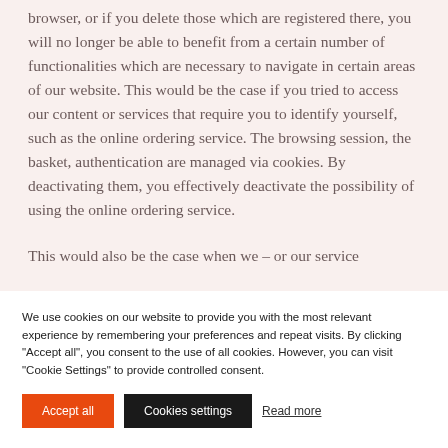browser, or if you delete those which are registered there, you will no longer be able to benefit from a certain number of functionalities which are necessary to navigate in certain areas of our website. This would be the case if you tried to access our content or services that require you to identify yourself, such as the online ordering service. The browsing session, the basket, authentication are managed via cookies. By deactivating them, you effectively deactivate the possibility of using the online ordering service.
This would also be the case when we – or our service
We use cookies on our website to provide you with the most relevant experience by remembering your preferences and repeat visits. By clicking "Accept all", you consent to the use of all cookies. However, you can visit "Cookie Settings" to provide controlled consent.